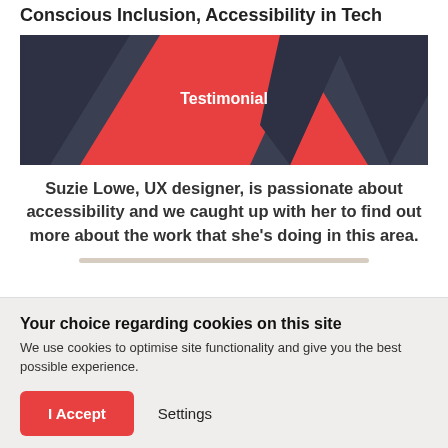Conscious Inclusion, Accessibility in Tech
[Figure (illustration): A banner graphic with a red background and dark navy/charcoal triangular chevron shapes on the left and right sides. The word 'Testimonial' appears centered in white bold text.]
Suzie Lowe, UX designer, is passionate about accessibility and we caught up with her to find out more about the work that she's doing in this area.
Your choice regarding cookies on this site
We use cookies to optimise site functionality and give you the best possible experience.